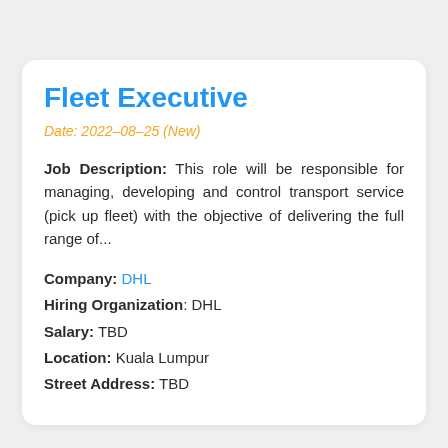Fleet Executive
Date: 2022-08-25 (New)
Job Description: This role will be responsible for managing, developing and control transport service (pick up fleet) with the objective of delivering the full range of...
Company: DHL
Hiring Organization: DHL
Salary: TBD
Location: Kuala Lumpur
Street Address: TBD